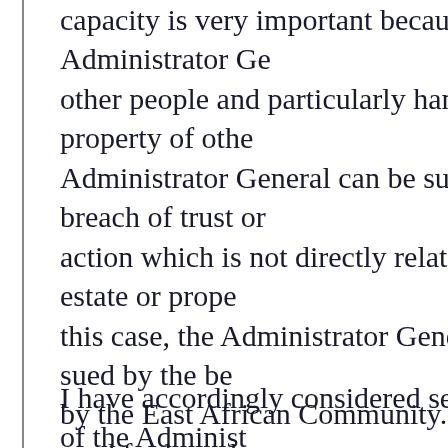capacity is very important because the Administrator General other people and particularly handles the property of other Administrator General can be sued for breach of trust or action which is not directly related to the estate or property this case, the Administrator General was sued by the beneficiary by the East African Community. He was sued for breach remitted the money to the lawful beneficiary or administrator. There are situations where the estate administered by the General may be liable for any liabilities of the Administrator are situations where the government coffers are liable when General would have been personally liable i.e. for breach of trust which has nothing to do with the estate administered General. Can another person's property be attached to satisfy Administrator General for breach of trust or breach of duty necessary to set out the various aspects of liability of the as provided for in the Administrator General's Act and the
I have accordingly considered section 35 of the Administrator which provides as follows: